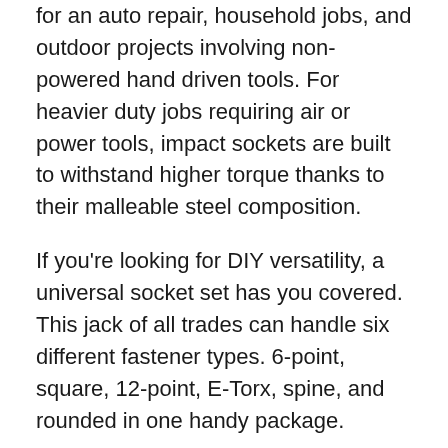for an auto repair, household jobs, and outdoor projects involving non-powered hand driven tools. For heavier duty jobs requiring air or power tools, impact sockets are built to withstand higher torque thanks to their malleable steel composition.
If you're looking for DIY versatility, a universal socket set has you covered. This jack of all trades can handle six different fastener types. 6-point, square, 12-point, E-Torx, spine, and rounded in one handy package.
These sets are perfect for smaller jobs or tasks requiring multiple fastener types. Different drive sizes have different strengths. Make sure you align the drive size with the job at hand and avoid using non-impact sockets with an impact wrench. The increased torque could shatter the socket.
Socket sets are available in different sizes to suit your needs. A smaller set works for simple, everyday tasks